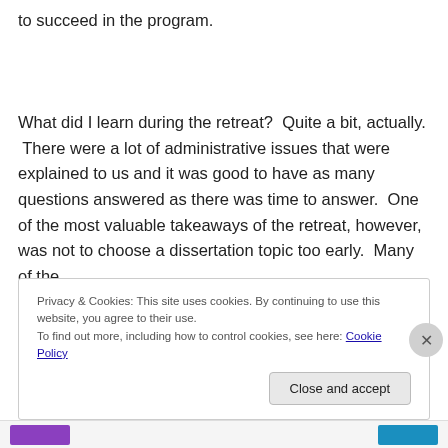to succeed in the program.

What did I learn during the retreat?  Quite a bit, actually.  There were a lot of administrative issues that were explained to us and it was good to have as many questions answered as there was time to answer.  One of the most valuable takeaways of the retreat, however, was not to choose a dissertation topic too early.  Many of the
Privacy & Cookies: This site uses cookies. By continuing to use this website, you agree to their use.
To find out more, including how to control cookies, see here: Cookie Policy